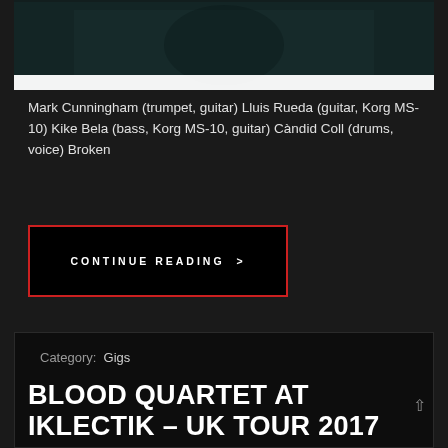[Figure (photo): Dark teal-toned photo of a person, partially cropped, with blurred background]
Mark Cunningham (trumpet, guitar) Lluis Rueda (guitar, Korg MS-10) Kike Bela (bass, Korg MS-10, guitar) Càndid Coll (drums, voice) Broken
CONTINUE READING >
Category:  Gigs
BLOOD QUARTET AT IKLECTIK – UK TOUR 2017